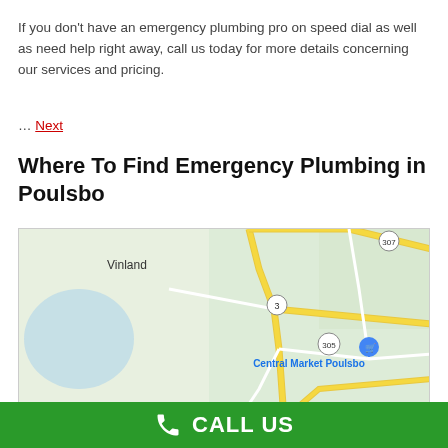If you don't have an emergency plumbing pro on speed dial as well as need help right away, call us today for more details concerning our services and pricing.
… Next
Where To Find Emergency Plumbing in Poulsbo
[Figure (map): Google Maps screenshot showing Poulsbo area with roads, Central Market Poulsbo marker, Vinland label, route numbers 3, 305, 307, and Poulsbo label.]
CALL US